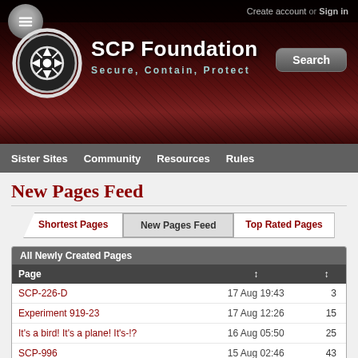Create account or Sign in
SCP Foundation — Secure, Contain, Protect
Sister Sites  Community  Resources  Rules
New Pages Feed
| Page | ↕ | ↕ |
| --- | --- | --- |
| SCP-226-D | 17 Aug 19:43 | 3 |
| Experiment 919-23 | 17 Aug 12:26 | 15 |
| It's a bird! It's a plane! It's-!? | 16 Aug 05:50 | 25 |
| SCP-996 | 15 Aug 02:46 | 43 |
| SCP-1016-D | 13 Aug 08:14 | 5 |
| SCP-135-D | 13 Aug 08:13 | 1 |